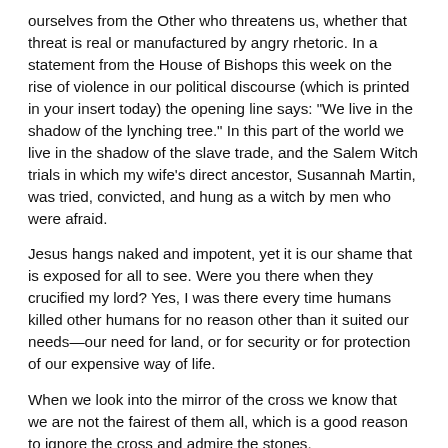ourselves from the Other who threatens us, whether that threat is real or manufactured by angry rhetoric. In a statement from the House of Bishops this week on the rise of violence in our political discourse (which is printed in your insert today) the opening line says: "We live in the shadow of the lynching tree." In this part of the world we live in the shadow of the slave trade, and the Salem Witch trials in which my wife's direct ancestor, Susannah Martin, was tried, convicted, and hung as a witch by men who were afraid.
Jesus hangs naked and impotent, yet it is our shame that is exposed for all to see. Were you there when they crucified my lord? Yes, I was there every time humans killed other humans for no reason other than it suited our needs—our need for land, or for security or for protection of our expensive way of life.
When we look into the mirror of the cross we know that we are not the fairest of them all, which is a good reason to ignore the cross and admire the stones.
The cross of Christ is also a window. It is a window into the heart of God who "while we were yet sinners Christ died FOR US." Christ takes on our sin. Fleming Rutledge says sin is to "be helplessly trapped inside one's own worst self…it means to be catastrophically separated from the eternal love of God." Crucifixion: Understanding